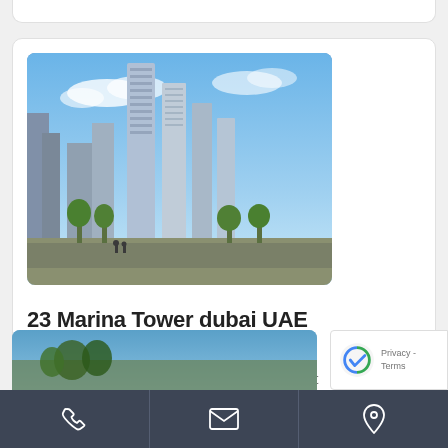[Figure (photo): Photograph of Dubai Marina skyline with tall skyscrapers and blue sky]
23 Marina Tower dubai UAE
Be the first one to rate!   point of interest
Dubai
[Figure (photo): Partial view of another location photo at the bottom]
Phone icon | Email icon | Location icon | Privacy - Terms (reCAPTCHA)